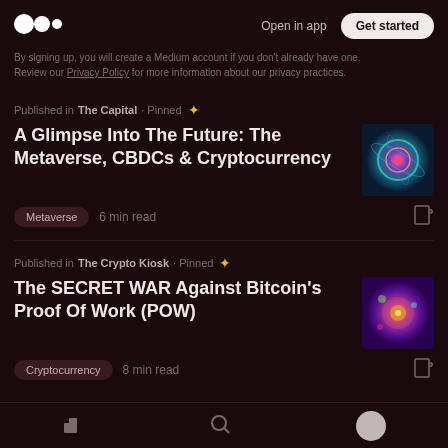Open in app  Get started
By signing up, you will create a Medium account if you don't already have one. Review our Privacy Policy for more information about our privacy practices.
Published in The Capital · Pinned
A Glimpse Into The Future: The Metaverse, CBDCs & Cryptocurrency
Metaverse  6 min read
[Figure (photo): Abstract colorful circular swirl image used as article thumbnail]
Published in The Crypto Kiosk · Pinned
The SECRET WAR Against Bitcoin's Proof Of Work (POW)
Cryptocurrency  8 min read
[Figure (photo): Abstract purple/orange microscopic or cosmic image used as article thumbnail]
Navigation bar with home, search, and profile icons